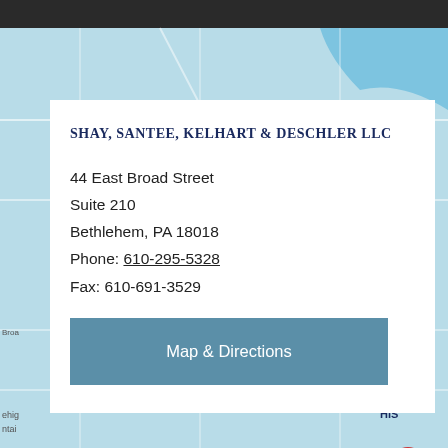[Figure (map): Street map background showing Bethlehem, PA area with light blue water features, street grid, and a red location pin marker on the right side]
SHAY, SANTEE, KELHART & DESCHLER LLC
44 East Broad Street
Suite 210
Bethlehem, PA 18018
Phone: 610-295-5328
Fax: 610-691-3529
Map & Directions